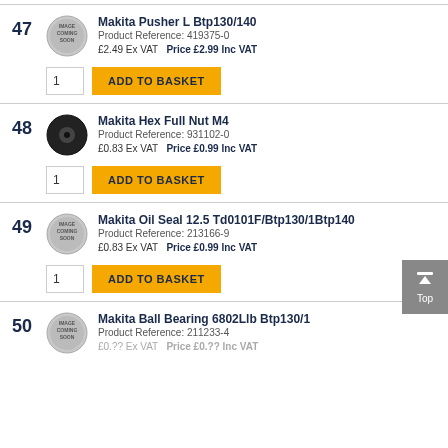47 Makita Pusher L Btp130/140 Product Reference: 419375-0 £2.49 Ex VAT Price £2.99 Inc VAT
48 Makita Hex Full Nut M4 Product Reference: 931102-0 £0.83 Ex VAT Price £0.99 Inc VAT
49 Makita Oil Seal 12.5 Td0101F/Btp130/1Btp140 Product Reference: 213166-9 £0.83 Ex VAT Price £0.99 Inc VAT
50 Makita Ball Bearing 6802Llb Btp130/1 Product Reference: 211233-4